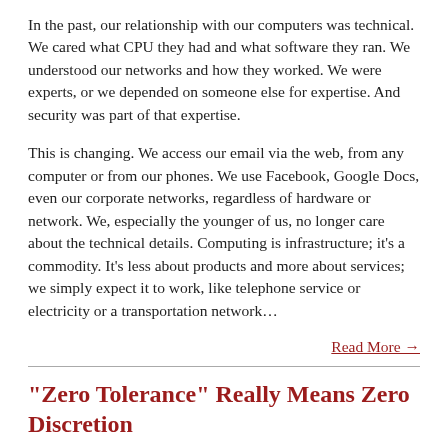In the past, our relationship with our computers was technical. We cared what CPU they had and what software they ran. We understood our networks and how they worked. We were experts, or we depended on someone else for expertise. And security was part of that expertise.
This is changing. We access our email via the web, from any computer or from our phones. We use Facebook, Google Docs, even our corporate networks, regardless of hardware or network. We, especially the younger of us, no longer care about the technical details. Computing is infrastructure; it's a commodity. It's less about products and more about services; we simply expect it to work, like telephone service or electricity or a transportation network…
Read More →
"Zero Tolerance" Really Means Zero Discretion
Bruce Schneier • MPR NewsQ • November 4, 2009